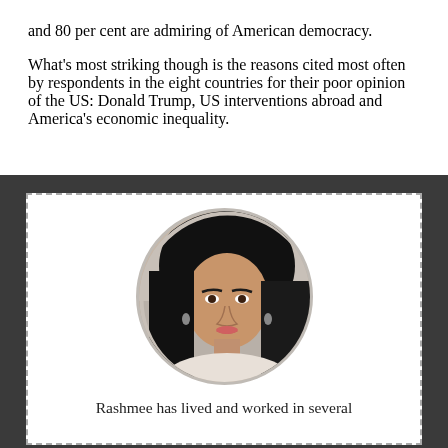and 80 per cent are admiring of American democracy. What's most striking though is the reasons cited most often by respondents in the eight countries for their poor opinion of the US: Donald Trump, US interventions abroad and America's economic inequality.
[Figure (photo): Circular portrait photo of a woman with dark hair, wearing earrings, with a light background]
Rashmee has lived and worked in several